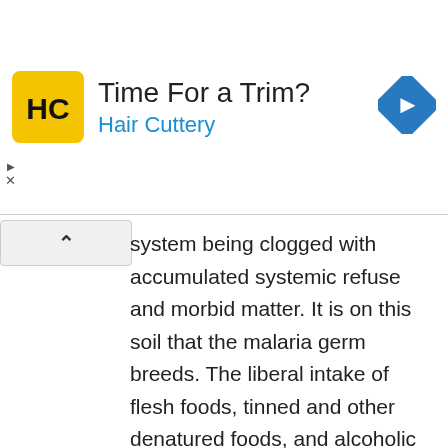[Figure (screenshot): Advertisement banner for Hair Cuttery salon. Yellow square logo with HC letters, text 'Time For a Trim?' and 'Hair Cuttery' in blue, blue diamond navigation icon on the right. Small ad controls (triangle and X) on the left edge.]
system being clogged with accumulated systemic refuse and morbid matter. It is on this soil that the malaria germ breeds. The liberal intake of flesh foods, tinned and other denatured foods, and alcoholic beverages lowers the vitality of the system and paves the way for the development of malaria.
Home Remedies for Malaria
Using Grapefruit
Grapefruit is one of the most effective home remedies for malaria. It should be taken